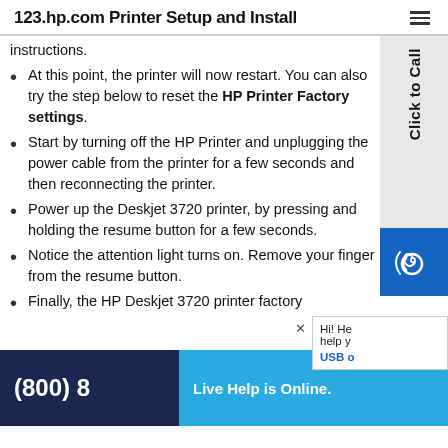123.hp.com Printer Setup and Install
instructions.
At this point, the printer will now restart. You can also try the step below to reset the HP Printer Factory settings.
Start by turning off the HP Printer and unplugging the power cable from the printer for a few seconds and then reconnecting the printer.
Power up the Deskjet 3720 printer, by pressing and holding the resume button for a few seconds.
Notice the attention light turns on. Remove your finger from the resume button.
Finally, the HP Deskjet 3720 printer factory
(800) 8...
Live Help is Online.